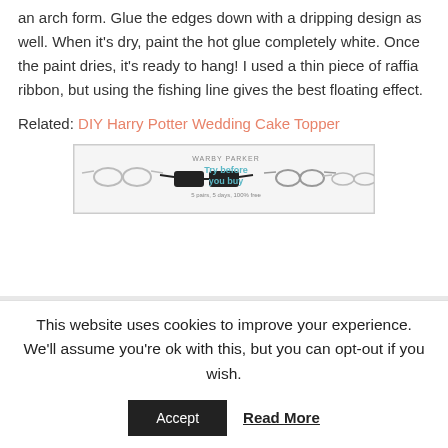an arch form. Glue the edges down with a dripping design as well. When it's dry, paint the hot glue completely white. Once the paint dries, it's ready to hang! I used a thin piece of raffia ribbon, but using the fishing line gives the best floating effect.
Related: DIY Harry Potter Wedding Cake Topper
[Figure (other): Warby Parker advertisement showing eyeglasses with text 'Try before you buy' and '5 pairs, 5 days, 100% free']
This website uses cookies to improve your experience. We'll assume you're ok with this, but you can opt-out if you wish.